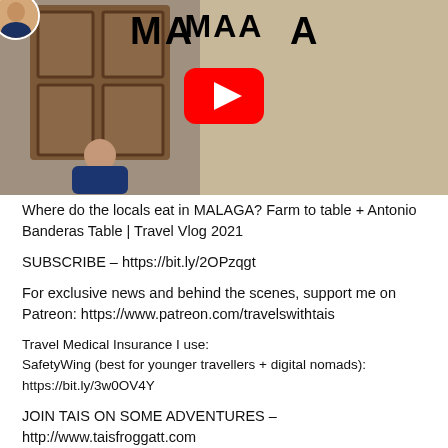[Figure (screenshot): YouTube video thumbnail showing 'MALAGA' text with YouTube play button overlay, woman sitting in front of wooden door on left, woman eating on right]
Where do the locals eat in MALAGA? Farm to table + Antonio Banderas Table | Travel Vlog 2021
SUBSCRIBE – https://bit.ly/2OPzqgt
For exclusive news and behind the scenes, support me on Patreon: https://www.patreon.com/travelswithtais
Travel Medical Insurance I use:
SafetyWing (best for younger travellers + digital nomads): https://bit.ly/3w0OV4Y
JOIN TAIS ON SOME ADVENTURES – http://www.taisfroggatt.com
I still remember my first meal in Spain back in 2006. I was visiting the country, seeking opportunities to work in the Mediterranean.